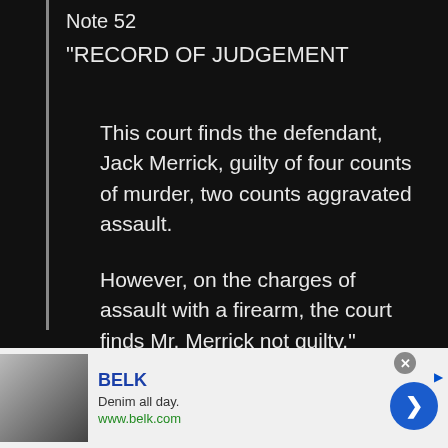Note 52
“RECORD OF JUDGEMENT
This court finds the defendant, Jack Merrick, guilty of four counts of murder, two counts aggravated assault.
However, on the charges of assault with a firearm, the court finds Mr. Merrick not guilty.”
Light Shift: Use guns
Blood Shift: Do not use guns
Note 53
[Figure (screenshot): Advertisement banner for BELK - Denim all day. www.belk.com, with a blue circle arrow button and a close X button.]